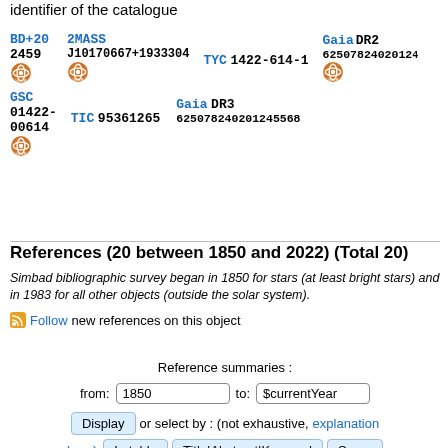All access to this data is available using the VizieR identifier of the catalogue
BD+20 2459 [VizieR] 2MASS J10170667+1933304 [VizieR] TYC 1422-614-1 Gaia DR2 6250782402012... [VizieR] GSC 01422-00614 [VizieR] TIC 95361265 Gaia DR3 625078240201245568
References (20 between 1850 and 2022) (Total 20)
Simbad bibliographic survey began in 1850 for stars (at least bright stars) and in 1983 for all other objects (outside the solar system).
Follow new references on this object
Reference summaries :
from: 1850 to: $currentYear
Display or select by : (not exhaustive, explanation here) In table Title|Abstract|Keyword Score